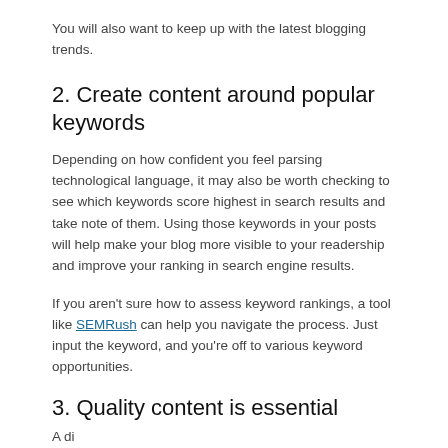You will also want to keep up with the latest blogging trends.
2. Create content around popular keywords
Depending on how confident you feel parsing technological language, it may also be worth checking to see which keywords score highest in search results and take note of them. Using those keywords in your posts will help make your blog more visible to your readership and improve your ranking in search engine results.
If you aren't sure how to assess keyword rankings, a tool like SEMRush can help you navigate the process. Just input the keyword, and you're off to various keyword opportunities.
3. Quality content is essential
A di...